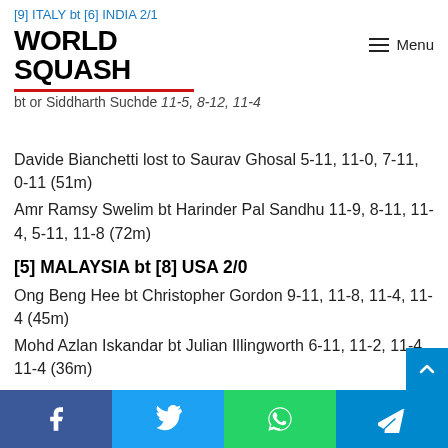[9] ITALY bt [6] INDIA 2/1
bt or Siddharth Suchde 11-5, 8-12, 11-4
Davide Bianchetti lost to Saurav Ghosal 5-11, 11-0, 7-11, 0-11 (51m)
Amr Ramsy Swelim bt Harinder Pal Sandhu 11-9, 8-11, 11-4, 5-11, 11-8 (72m)
[5] MALAYSIA bt [8] USA 2/0
Ong Beng Hee bt Christopher Gordon 9-11, 11-8, 11-4, 11-4 (45m)
Mohd Azlan Iskandar bt Julian Illingworth 6-11, 11-2, 11-4, 11-4 (36m)
Mohd Nafiizwan Adnan v Todd Harrity (Match withdrawn)
9th – 12th place play-offs: